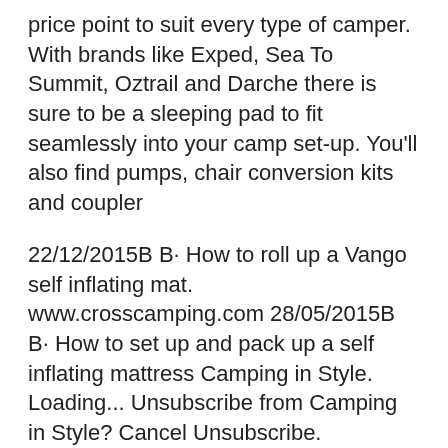price point to suit every type of camper. With brands like Exped, Sea To Summit, Oztrail and Darche there is sure to be a sleeping pad to fit seamlessly into your camp set-up. You'll also find pumps, chair conversion kits and coupler
22/12/2015B B· How to roll up a Vango self inflating mat. www.crosscamping.com 28/05/2015B B· How to set up and pack up a self inflating mattress Camping in Style. Loading... Unsubscribe from Camping in Style? Cancel Unsubscribe. Working... Subscribe Subscribed Unsubscribe 585. Loading
Camping mattresses & mats for sale in